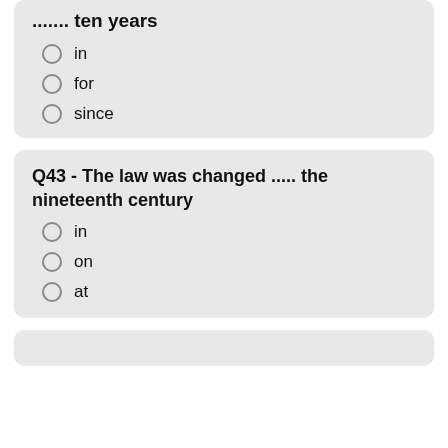Q42 - She was Prime Minister ....... ten years
in
for
since
Q43 - The law was changed ..... the nineteenth century
in
on
at